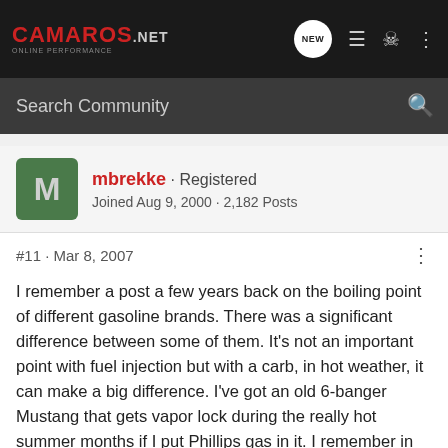CAMAROS.net ONLINE PERFORMANCE
Search Community
mbrekke · Registered
Joined Aug 9, 2000 · 2,182 Posts
#11 · Mar 8, 2007
I remember a post a few years back on the boiling point of different gasoline brands. There was a significant difference between some of them. It's not an important point with fuel injection but with a carb, in hot weather, it can make a big difference. I've got an old 6-banger Mustang that gets vapor lock during the really hot summer months if I put Phillips gas in it. I remember in that post, Phillips had one of the lowest boiling points. Guess I should try to find it.
[Figure (photo): OPTIMA Batteries advertisement banner]
Been a...